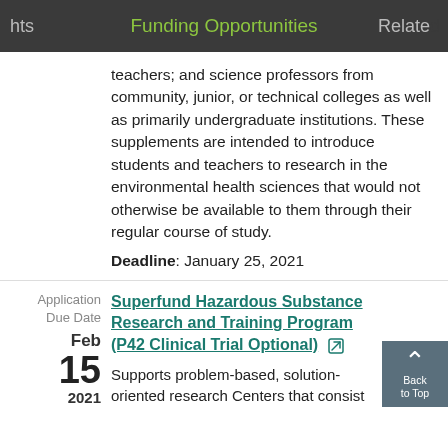hts  Funding Opportunities  Related
teachers; and science professors from community, junior, or technical colleges as well as primarily undergraduate institutions. These supplements are intended to introduce students and teachers to research in the environmental health sciences that would not otherwise be available to them through their regular course of study. Deadline: January 25, 2021
Application Due Date Feb 15 2021
Superfund Hazardous Substance Research and Training Program (P42 Clinical Trial Optional)
Supports problem-based, solution-oriented research Centers that consist